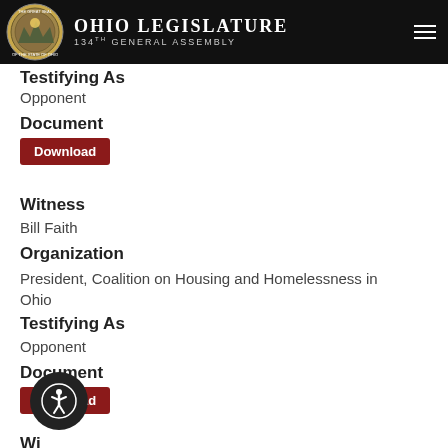Ohio Legislature 134th General Assembly
Testifying As
Opponent
Document
Download
Witness
Bill Faith
Organization
President, Coalition on Housing and Homelessness in Ohio
Testifying As
Opponent
Document
Download
Wi
Pastor Brandi Slaughter